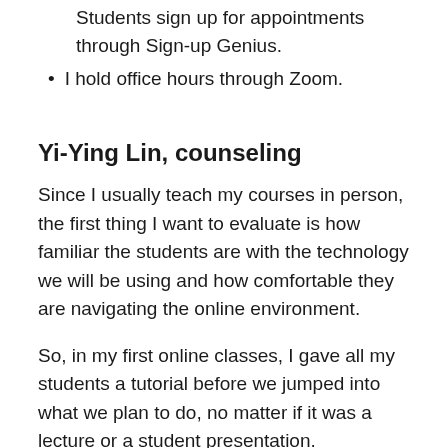Students sign up for appointments through Sign-up Genius.
I hold office hours through Zoom.
Yi-Ying Lin, counseling
Since I usually teach my courses in person, the first thing I want to evaluate is how familiar the students are with the technology we will be using and how comfortable they are navigating the online environment.
So, in my first online classes, I gave all my students a tutorial before we jumped into what we plan to do, no matter if it was a lecture or a student presentation.
I walked them through different functions such